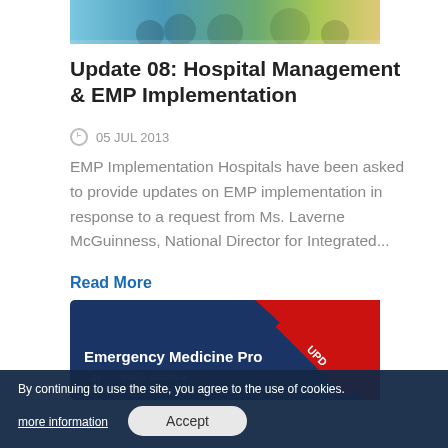[Figure (photo): Top portion of a photo showing medical/healthcare staff]
Update 08: Hospital Management & EMP Implementation
05 JUL 2013
EMP Implementation Hospitals have been asked to provide updates on EMP implementation in response to a request from Ms. Laverne McGuinness, National Director for Integrated...
Read More
[Figure (photo): The National Emergency Medicine Programme card with UPDATE ribbon overlay]
By continuing to use the site, you agree to the use of cookies.
more information
Accept